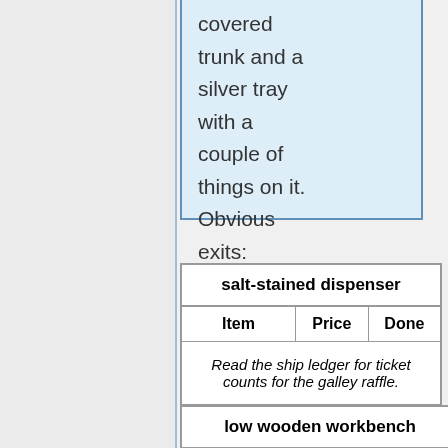covered trunk and a silver tray with a couple of things on it. Obvious exits: northeast, northwest.
| salt-stained dispenser |  |  |
| --- | --- | --- |
| Item | Price | Done |
| Read the ship ledger for ticket counts for the galley raffle. |  |  |
| low wooden workbench |
| --- |